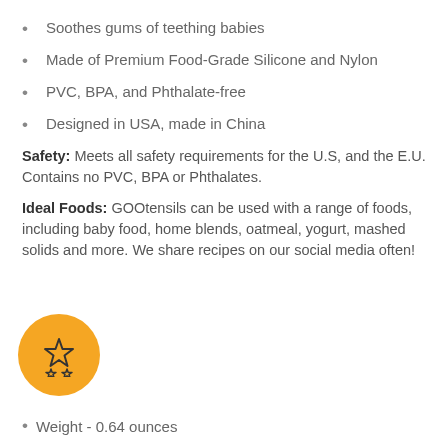Soothes gums of teething babies
Made of Premium Food-Grade Silicone and Nylon
PVC, BPA, and Phthalate-free
Designed in USA, made in China
Safety: Meets all safety requirements for the U.S, and the E.U. Contains no PVC, BPA or Phthalates.
Ideal Foods: GOOtensils can be used with a range of foods, including baby food, home blends, oatmeal, yogurt, mashed solids and more. We share recipes on our social media often!
[Figure (illustration): Orange circular badge with a star/award icon in the center]
S
Weight - 0.64 ounces